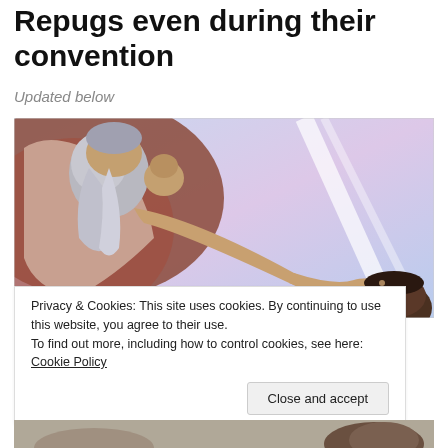Repugs even during their convention
Updated below
[Figure (photo): Michelangelo Creation of Adam painting with a figure reaching out, combined with a sky background and a head at the bottom right]
Privacy & Cookies: This site uses cookies. By continuing to use this website, you agree to their use.
To find out more, including how to control cookies, see here: Cookie Policy
Close and accept